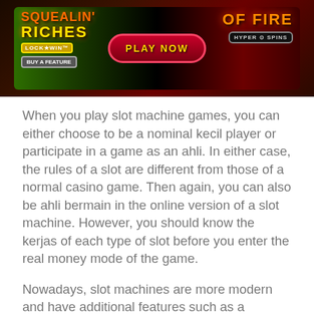[Figure (illustration): Casino slot machine game advertisement banner showing 'Squealin Riches Lock N Win' on the left with a green/jungle theme and 'Of Fire Hyper Spins' on the right with a red/fire theme. A red 'PLAY NOW' button is in the center.]
When you play slot machine games, you can either choose to be a nominal kecil player or participate in a game as an ahli. In either case, the rules of a slot are different from those of a normal casino game. Then again, you can also be ahli bermain in the online version of a slot machine. However, you should know the kerjas of each type of slot before you enter the real money mode of the game.
Nowadays, slot machines are more modern and have additional features such as a progressive jackpot that increases in size as more players play. This feature is similar to the progressive jackpot